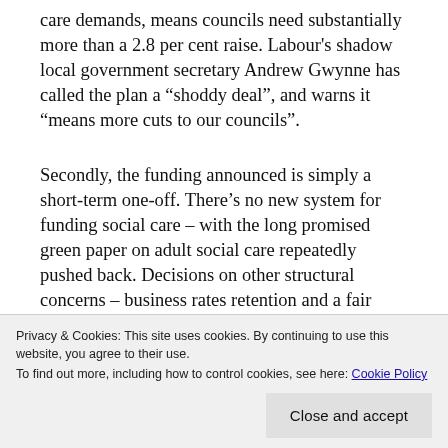care demands, means councils need substantially more than a 2.8 per cent raise. Labour's shadow local government secretary Andrew Gwynne has called the plan a “shoddy deal”, and warns it “means more cuts to our councils”.
Secondly, the funding announced is simply a short-term one-off. There’s no new system for funding social care – with the long promised green paper on adult social care repeatedly pushed back. Decisions on other structural concerns – business rates retention and a fair sustainable funding settlement. As the head of
Privacy & Cookies: This site uses cookies. By continuing to use this website, you agree to their use.
To find out more, including how to control cookies, see here: Cookie Policy
Close and accept